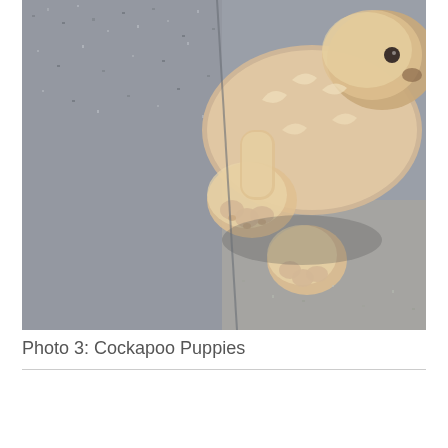[Figure (photo): Overhead view of a fluffy cream/golden Cockapoo puppy lying on its back on a gray speckled carpet, with paws visible and head tilted, shot from above]
Photo 3: Cockapoo Puppies